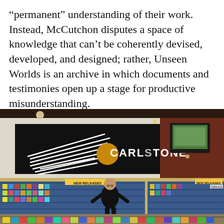“permanent” understanding of their work. Instead, McCutchon disputes a space of knowledge that can’t be coherently devised, developed, and designed; rather, Unseen Worlds is an archive in which documents and testimonies open up a stage for productive misunderstanding.
[Figure (photo): Interior of a Carlstone record store showing a large black-and-white graphic logo on the wall with the word CARLSTONE, shelves of CDs and music releases labeled NEW RELEASES and VARIOUS, and a person standing in the center of the store.]